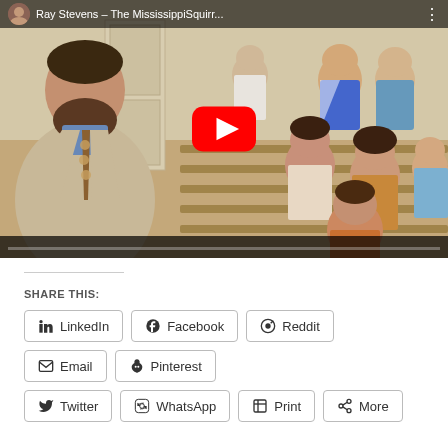[Figure (screenshot): YouTube video embed showing Ray Stevens - The Mississippi Squirrel... with a play button overlay. Video shows a bearded man in a suit in a church/courtroom setting with audience members in background.]
SHARE THIS:
LinkedIn
Facebook
Reddit
Email
Pinterest
Twitter
WhatsApp
Print
More